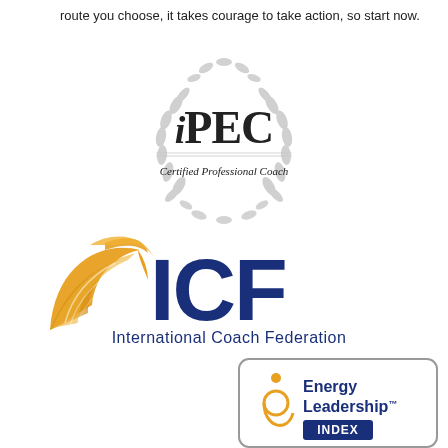route you choose, it takes courage to take action, so start now.
[Figure (logo): iPEC Certified Professional Coach logo with laurel wreath in gray]
[Figure (logo): ICF International Coach Federation logo with yellow swoosh and dark blue text]
[Figure (logo): Energy Leadership Index logo with yellow circle element and dark blue text in rounded rectangle]